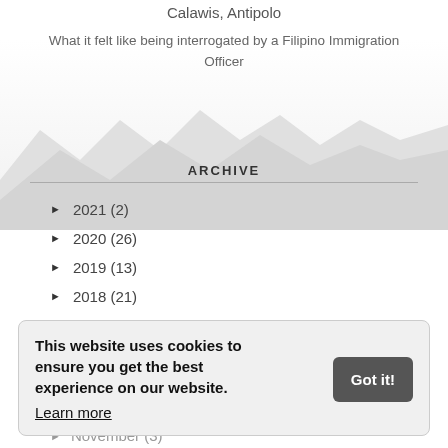Calawis, Antipolo
What it felt like being interrogated by a Filipino Immigration Officer
[Figure (illustration): Faint mountain range silhouette background graphic]
ARCHIVE
► 2021 (2)
► 2020 (26)
► 2019 (13)
► 2018 (21)
► 2017 (40)
This website uses cookies to ensure you get the best experience on our website. Learn more
► November (3)